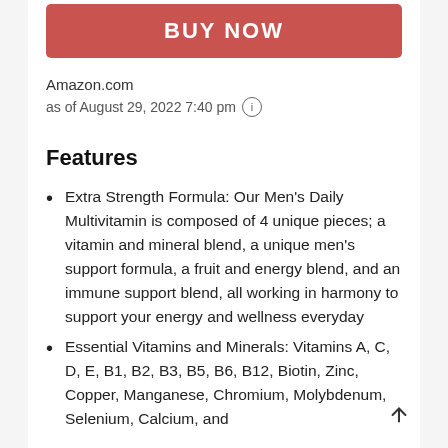[Figure (other): BUY NOW button in red/coral color]
Amazon.com
as of August 29, 2022 7:40 pm (i)
Features
Extra Strength Formula: Our Men's Daily Multivitamin is composed of 4 unique pieces; a vitamin and mineral blend, a unique men's support formula, a fruit and energy blend, and an immune support blend, all working in harmony to support your energy and wellness everyday
Essential Vitamins and Minerals: Vitamins A, C, D, E, B1, B2, B3, B5, B6, B12, Biotin, Zinc, Copper, Manganese, Chromium, Molybdenum, Selenium, Calcium, and